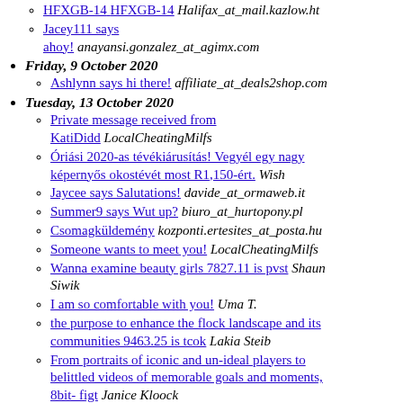HFXGB-14 Halifax_at_mail.kazlow.ht
Jacey111 says ahoy! anayansi.gonzalez_at_agimx.com
Friday, 9 October 2020
Ashlynn says hi there! affiliate_at_deals2shop.com
Tuesday, 13 October 2020
Private message received from KatiDidd LocalCheatingMilfs
Óriási 2020-as tévékiárusítás! Vegyél egy nagy képernyős okostévét most R1,150-ért. Wish
Jaycee says Salutations! davide_at_ormaweb.it
Summer9 says Wut up? biuro_at_hurtopony.pl
Csomagküldemény kozponti.ertesites_at_posta.hu
Someone wants to meet you! LocalCheatingMilfs
Wanna examine beauty girls 7827.11 is pvst Shaun Siwik
I am so comfortable with you! Uma T.
the purpose to enhance the flock landscape and its communities 9463.25 is tcok Lakia Steib
From portraits of iconic and un-ideal players to belittled videos of memorable goals and moments, 8bit- figt Janice Kloock
Watch over the Fan Page against updates and golf links to forthcoming episodes sjix Ellena Gradert
Alisa666 says How are things? acnte_at_netpremium.net.hu